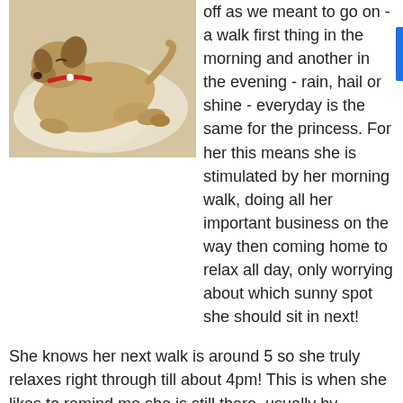[Figure (photo): A dog with a red collar lying on a light-colored surface, resting comfortably.]
off as we meant to go on - a walk first thing in the morning and another in the evening - rain, hail or shine - everyday is the same for the princess. For her this means she is stimulated by her morning walk, doing all her important business on the way then coming home to relax all day, only worrying about which sunny spot she should sit in next!
She knows her next walk is around 5 so she truly relaxes right through till about 4pm! This is when she likes to remind me she is still there, usually by shaking and stretching near me - in case my body clock is out - and then the last reminder is to bring me a ball at 5pm.